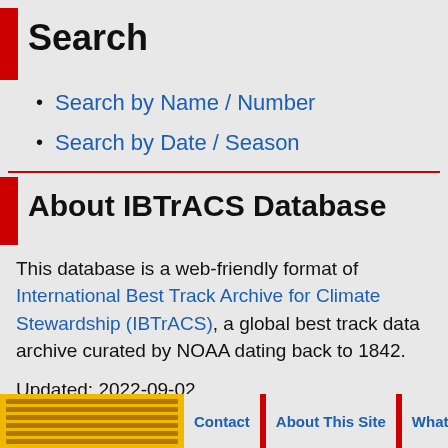Search
Search by Name / Number
Search by Date / Season
About IBTrACS Database
This database is a web-friendly format of International Best Track Archive for Climate Stewardship (IBTrACS), a global best track data archive curated by NOAA dating back to 1842.
Updated: 2022-09-02
Contact | About This Site | What's New